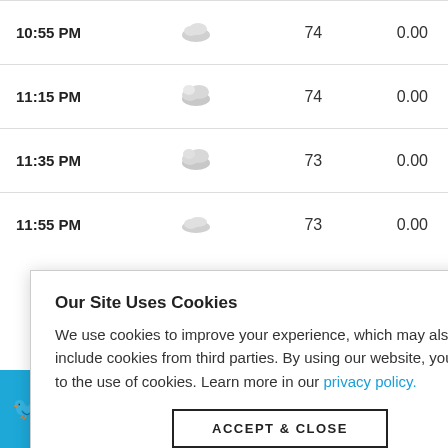| Time | Icon | Temp | Precip |
| --- | --- | --- | --- |
| 10:55 PM | [icon] | 74 | 0.00 |
| 11:15 PM | [icon] | 74 | 0.00 |
| 11:35 PM | [icon] | 73 | 0.00 |
| 11:55 PM | [icon] | 73 | 0.00 |
Our Site Uses Cookies
We use cookies to improve your experience, which may also include cookies from third parties. By using our website, you agree to the use of cookies. Learn more in our privacy policy.
ACCEPT & CLOSE
innamnor from last night 🌀 #tropicalcyclones #severeweather